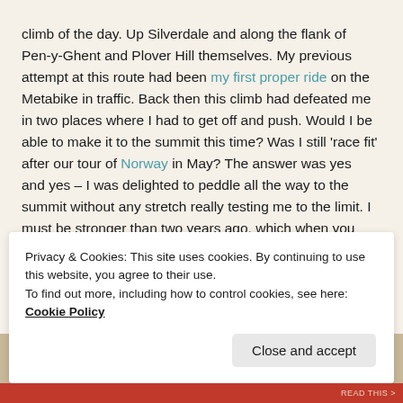climb of the day. Up Silverdale and along the flank of Pen-y-Ghent and Plover Hill themselves. My previous attempt at this route had been my first proper ride on the Metabike in traffic. Back then this climb had defeated me in two places where I had to get off and push. Would I be able to make it to the summit this time? Was I still 'race fit' after our tour of Norway in May? The answer was yes and yes – I was delighted to peddle all the way to the summit without any stretch really testing me to the limit. I must be stronger than two years ago, which when you are in your 40's is a great boost to the self esteem. I rewarded myself with a rest break on the summit and the geek-treat of emailing a selfie to Mrs W.
Privacy & Cookies: This site uses cookies. By continuing to use this website, you agree to their use.
To find out more, including how to control cookies, see here: Cookie Policy